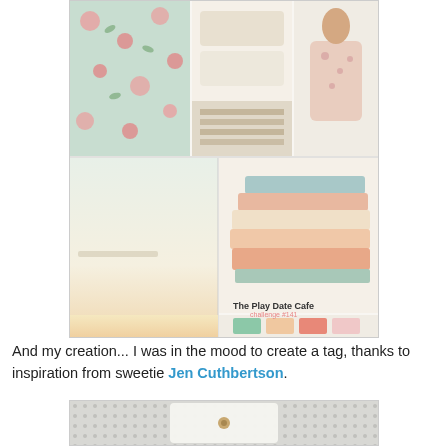[Figure (photo): A mood board collage image for 'The Play Date Cafe challenge #141', featuring floral fabric pattern (pink roses on mint green), stacked books in pastel colors, a woman in a pink floral dress, decorative trim, a pale gradient background, and four color swatches: mint green, peach, coral/salmon, and light pink. Text reads 'The Play Date Cafe challenge #141'.]
And my creation... I was in the mood to create a tag, thanks to inspiration from sweetie Jen Cuthbertson.
[Figure (photo): Partial view of a handmade tag on a dotted/geometric background, showing a white tag shape with a small circular brad or button fastener.]